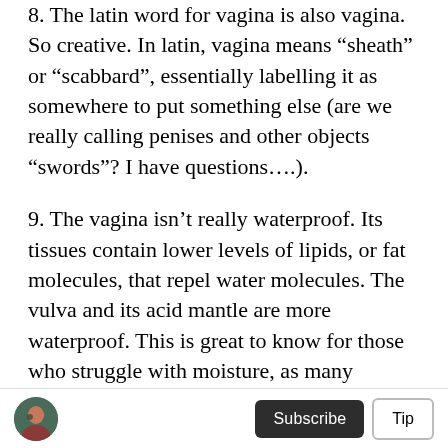8. The latin word for vagina is also vagina. So creative. In latin, vagina means “sheath” or “scabbard”, essentially labelling it as somewhere to put something else (are we really calling penises and other objects “swords”? I have questions….).
9. The vagina isn’t really waterproof. Its tissues contain lower levels of lipids, or fat molecules, that repel water molecules. The vulva and its acid mantle are more waterproof. This is great to know for those who struggle with moisture, as many lubricants and moisturizers are water-based and absorb much better than something silicone-based.
Subscribe | Tip